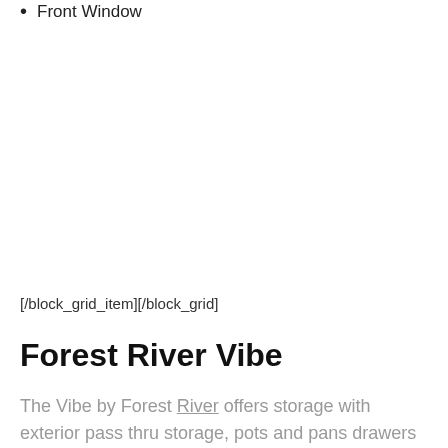Front Window
[/block_grid_item][/block_grid]
Forest River Vibe
The Vibe by Forest River offers storage with exterior pass thru storage, pots and pans drawers under the